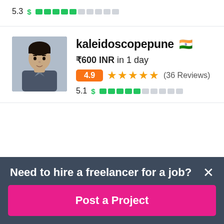5.3 $ ████░░░░░░
[Figure (photo): Profile photo of freelancer kaleidoscopepune, a young man in a collared shirt]
kaleidoscopepune 🇮🇳
₹600 INR in 1 day
4.9 ★★★★★ (36 Reviews)
5.1 $ ████░░░░░░
Need to hire a freelancer for a job?
Post a Project